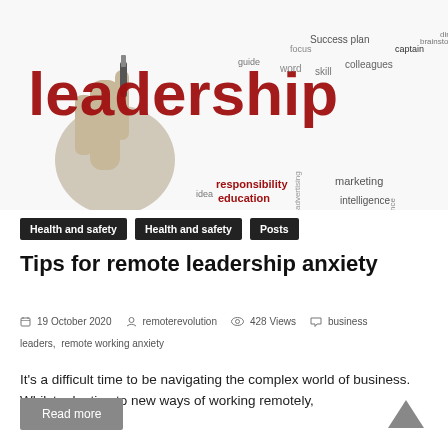[Figure (illustration): Leadership word cloud image showing a hand holding a marker with words like leadership, vision, business, teamwork, management, concept, strategy in various colors and sizes]
Health and safety
Health and safety
Posts
Tips for remote leadership anxiety
19 October 2020   remoterevolution   428 Views   business
leaders,  remote working anxiety
It's a difficult time to be navigating the complex world of business. Whilst adapting to new ways of working remotely,
Read more